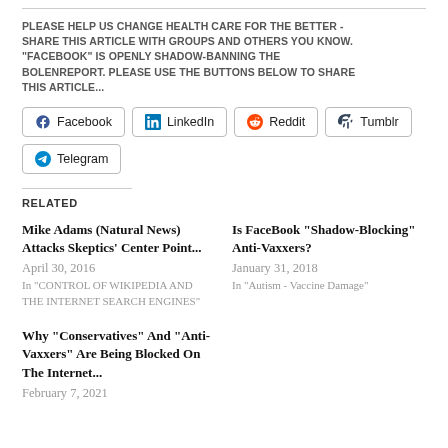PLEASE HELP US CHANGE HEALTH CARE FOR THE BETTER - SHARE THIS ARTICLE WITH GROUPS AND OTHERS YOU KNOW. "FACEBOOK" IS OPENLY SHADOW-BANNING THE BOLENREPORT. PLEASE USE THE BUTTONS BELOW TO SHARE THIS ARTICLE...
[Figure (other): Social share buttons: Facebook, LinkedIn, Reddit, Tumblr, Telegram]
RELATED
Mike Adams (Natural News) Attacks Skeptics' Center Point...
April 30, 2016
In "CONTROL OF WIKIPEDIA AND THE INTERNET SEARCH ENGINES"
Is FaceBook “Shadow-Blocking” Anti-Vaxxers?
January 31, 2018
In "Autism - Vaccine Damage"
Why “Conservatives” And “Anti-Vaxxers” Are Being Blocked On The Internet...
February 7, 2021